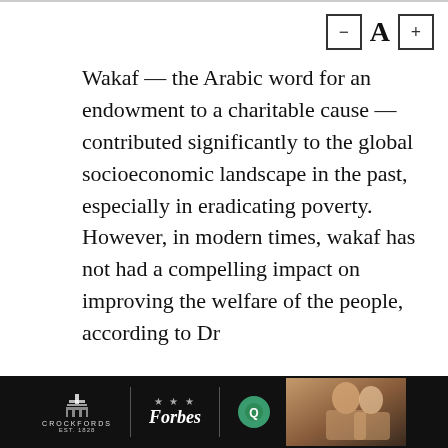[Figure (other): Font size controls: minus button, large A, plus button]
Wakaf — the Arabic word for an endowment to a charitable cause — contributed significantly to the global socioeconomic landscape in the past, especially in eradicating poverty. However, in modern times, wakaf has not had a compelling impact on improving the welfare of the people, according to Dr
Farrukh Habib, researcher at International Shari'ah Research Academy for Islamic Finance.
[Figure (other): Advertisement banner with Crockfords, Forbes, Verified logos and a photo of people]